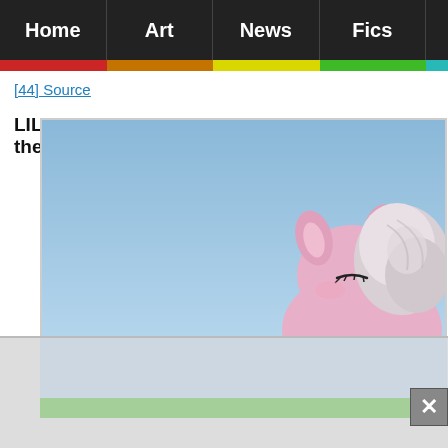Home | Art | News | Fics
[44] Source
LILAC Links - The Vintage Pone by thevintagepone
[Figure (illustration): Digital illustration of a pink cartoon pony with grey/white curly mane against a blue sky and green grass background. The pony has closed eyes with eyelashes visible. The image is partially cropped showing mainly the upper body and head of the pony.]